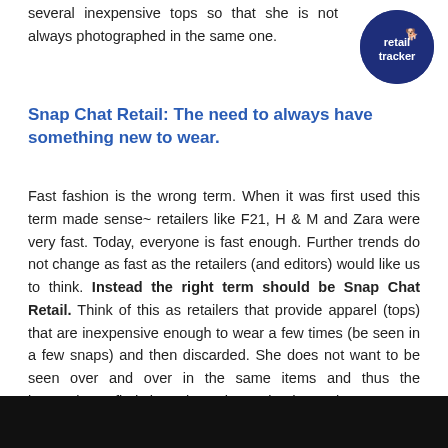several inexpensive tops so that she is not always photographed in the same one.
[Figure (logo): Retail Tracker logo — dark navy circle with white text 'retail tracker' and a small running dog/horse icon]
Snap Chat Retail: The need to always have something new to wear.
Fast fashion is the wrong term. When it was first used this term made sense~ retailers like F21, H & M and Zara were very fast. Today, everyone is fast enough. Further trends do not change as fast as the retailers (and editors) would like us to think. Instead the right term should be Snap Chat Retail. Think of this as retailers that provide apparel (tops) that are inexpensive enough to wear a few times (be seen in a few snaps) and then discarded. She does not want to be seen over and over in the same items and thus the imperative to find cheap items has gained attention.
[Figure (other): Black bar at the bottom of the page]